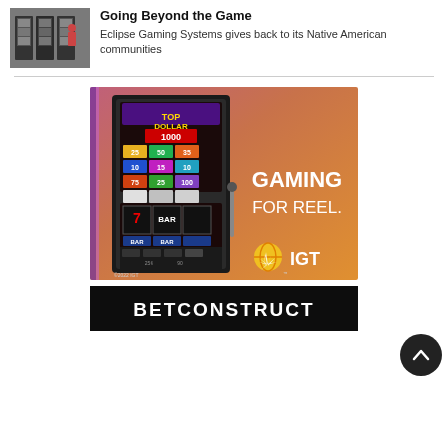[Figure (photo): Small thumbnail photo of slot machines in a casino floor]
Going Beyond the Game
Eclipse Gaming Systems gives back to its Native American communities
[Figure (photo): IGT advertisement showing a Top Dollar slot machine with text GAMING FOR REEL. and IGT logo on a warm gradient background. Copyright 2022 IGT.]
[Figure (photo): BetConstruct banner advertisement with white text on dark background]